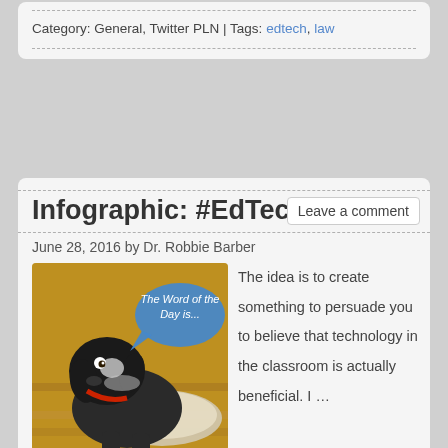Category: General, Twitter PLN | Tags: edtech, law
Infographic: #EdTech
Leave a comment
June 28, 2016 by Dr. Robbie Barber
[Figure (photo): A dog with a speech bubble saying 'The Word of the Day is...' overlaid on the image.]
The idea is to create something to persuade you to believe that technology in the classroom is actually beneficial.  I …